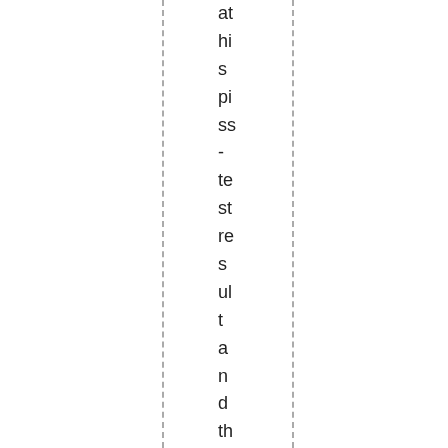at hi s pi ss - te st re s ul t a n d th e pi ss - p o or w a y it w a